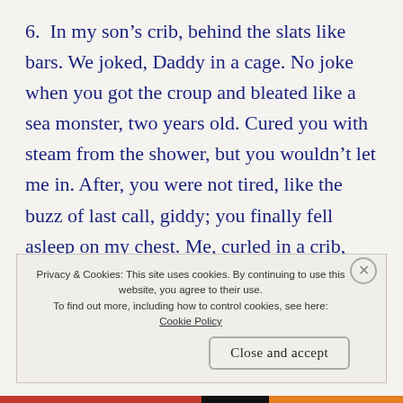6.  In my son's crib, behind the slats like bars. We joked, Daddy in a cage. No joke when you got the croup and bleated like a sea monster, two years old. Cured you with steam from the shower, but you wouldn't let me in. After, you were not tired, like the buzz of last call, giddy; you finally fell asleep on my chest. Me, curled in a crib, arms around you, listening to your
Privacy & Cookies: This site uses cookies. By continuing to use this website, you agree to their use.
To find out more, including how to control cookies, see here: Cookie Policy
Close and accept